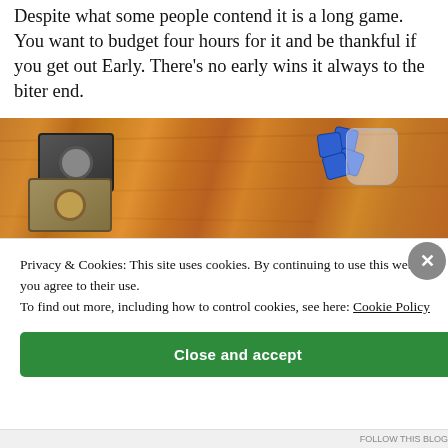Despite what some people contend it is a long game. You want to budget four hours for it and be thankful if you get out Early. There's no early wins it always to the biter end.
[Figure (photo): A board game spread on a wooden table. There are two stacked game boxes/components (dark grey on top, gold/tan below) in the upper left, a bag of blue game pieces in the upper right, and a row of game cards along the bottom of the image including red, blue, and illustrated scene cards.]
Privacy & Cookies: This site uses cookies. By continuing to use this website, you agree to their use.
To find out more, including how to control cookies, see here: Cookie Policy
Close and accept